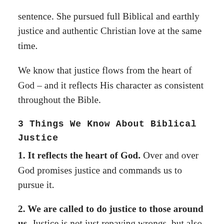sentence. She pursued full Biblical and earthly justice and authentic Christian love at the same time.
We know that justice flows from the heart of God – and it reflects His character as consistent throughout the Bible.
3 Things We Know About Biblical Justice
1. It reflects the heart of God. Over and over God promises justice and commands us to pursue it.
2. We are called to do justice to those around us. Justice is not just repaying wrongs, but also ensuring that the most vulnerable among us are able to live well, provided for, respected, upheld